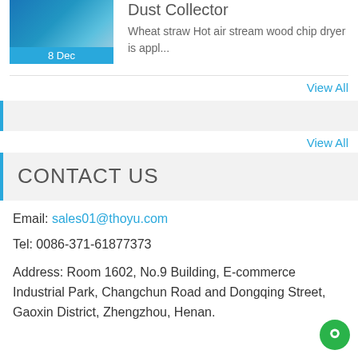[Figure (photo): Industrial dust collector / wood chip dryer equipment photograph with blue cylindrical machinery]
Dust Collector
Wheat straw Hot air stream wood chip dryer is appl...
View All
View All
CONTACT US
Email: sales01@thoyu.com
Tel: 0086-371-61877373
Address: Room 1602, No.9 Building, E-commerce Industrial Park, Changchun Road and Dongqing Street, Gaoxin District, Zhengzhou, Henan.